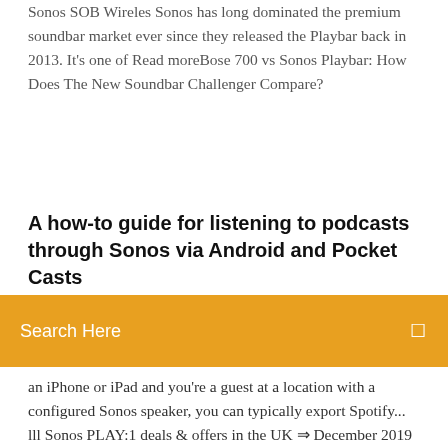Sonos SOB Wireles Sonos has long dominated the premium soundbar market ever since they released the Playbar back in 2013. It's one of Read moreBose 700 vs Sonos Playbar: How Does The New Soundbar Challenger Compare?
A how-to guide for listening to podcasts through Sonos via Android and Pocket Casts
[Figure (other): Orange search bar with text 'Search Here' and a search icon on the right]
an iPhone or iPad and you're a guest at a location with a configured Sonos speaker, you can typically export Spotify... lll Sonos PLAY:1 deals & offers in the UK ⇒ December 2019 Get the best discounts, cheapest price for Sonos PLAY:1 and save money hotukdeals.com. The Sonos Playbar is a soundbar that fits into a living room seamlessly, boasting great sound and a useful companion app. It's a testament to just how great Sonos is at creating a satisfying user experience with their devices. The Sonos Game is a new, collaborative way to incorporate